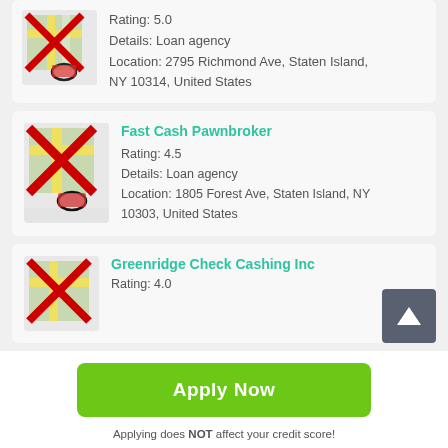[Figure (screenshot): Map icon with red X mark for first card (partial, top of page)]
Rating: 5.0
Details: Loan agency
Location: 2795 Richmond Ave, Staten Island, NY 10314, United States
[Figure (screenshot): Map icon with red X mark for Fast Cash Pawnbroker]
Fast Cash Pawnbroker
Rating: 4.5
Details: Loan agency
Location: 1805 Forest Ave, Staten Island, NY 10303, United States
[Figure (screenshot): Map icon with red X mark for Greenridge Check Cashing Inc]
Greenridge Check Cashing Inc
Rating: 4.0
Apply Now
Applying does NOT affect your credit score!
No credit check to apply.